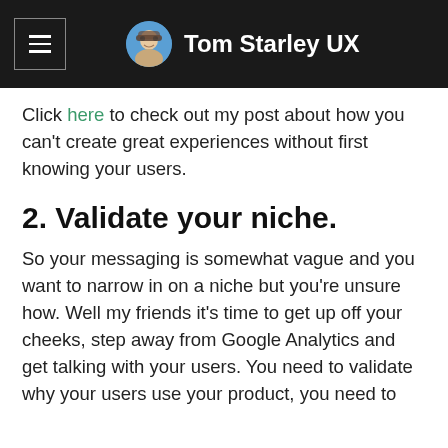Tom Starley UX
Click here to check out my post about how you can't create great experiences without first knowing your users.
2. Validate your niche.
So your messaging is somewhat vague and you want to narrow in on a niche but you're unsure how. Well my friends it's time to get up off your cheeks, step away from Google Analytics and get talking with your users. You need to validate why your users use your product, you need to